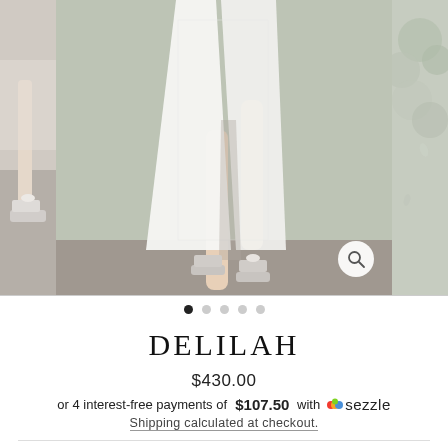[Figure (photo): Product carousel showing a model wearing a white lace maxi dress with a high slit and white platform heels, standing in front of a green hedge wall. Left thumbnail shows shoes/feet detail, right thumbnail shows greenery background. A magnify/zoom button is visible in the lower right of the main image. Carousel navigation dots below (1 active, 4 inactive).]
DELILAH
$430.00
or 4 interest-free payments of $107.50 with  sezzle
Shipping calculated at checkout.
$17.5